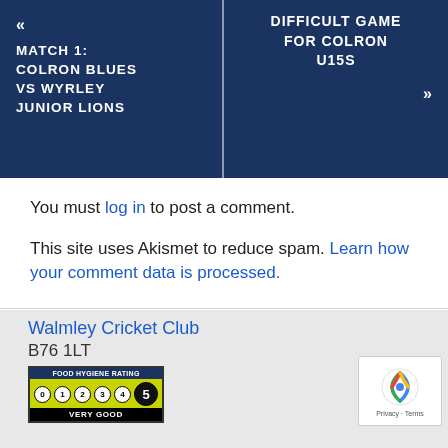« MATCH 1: COLRON BLUES VS WYRLEY JUNIOR LIONS
DIFFICULT GAME FOR COLRON U15S »
You must log in to post a comment.
This site uses Akismet to reduce spam. Learn how your comment data is processed.
Walmley Cricket Club
B76 1LT
[Figure (infographic): Food Hygiene Rating badge showing rating 5 - Very Good, with circles labeled 0 1 2 3 4 and a filled circle 5]
[Figure (logo): Google reCAPTCHA badge with recycling-style logo and 'Privacy - Terms' text]